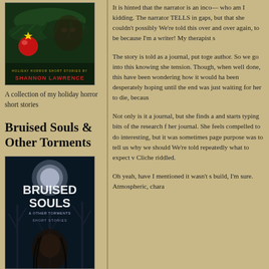[Figure (photo): Book cover for a holiday horror short stories collection by Shannon Lawrence, showing Christmas ornament on pine branch with dark eerie imagery]
A collection of my holiday horror short stories
Bruised Souls & Other Torments
[Figure (photo): Book cover for Bruised Souls & Other Torments short stories, dark blue/black background with ghostly trees and a woman's face]
It is hinted that the narrator is an inco— who am I kidding. The narrator TELLS in gaps, but that she couldn't possibly We're told this over and over again, to be because I'm a writer! My therapist s
The story is told as a journal, put toge author. So we go into this knowing she tension. Though, when well done, this have been wondering how it would ha been desperately hoping until the end was just waiting for her to die, becaus
Not only is it a journal, but she finds a and starts typing bits of the research f her journal. She feels compelled to do interesting, but it was sometimes page purpose was to tell us why we should We're told repeatedly what to expect v Cliche riddled.
Oh yeah, have I mentioned it wasn't s build, I'm sure. Atmospheric, chara